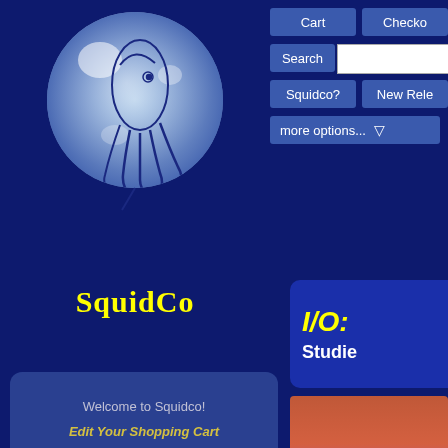[Figure (logo): SquidCo logo: a glowing blue-white sphere with a squid-like figure drawn in dark blue lines, tentacles curling at bottom]
SquidCo
Cart
Checko
Search
Squidco?
New Rele
more options... ▽
I/O:
Studie
Welcome to Squidco!
Edit Your Shopping Cart
Squidco Home
About Squidco
My Account
Log Out
Checkout
[Figure (illustration): Album cover with warm orange-red gradient background, text reads: Studies on Colour Field Modulation]